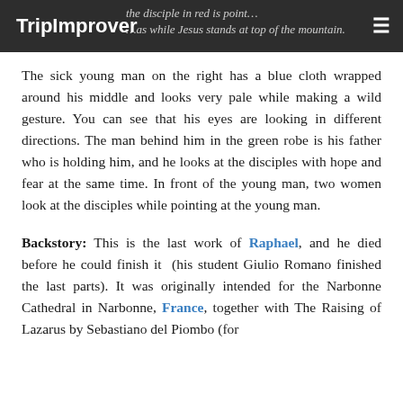TripImprover
The sick young man on the right has a blue cloth wrapped around his middle and looks very pale while making a wild gesture. You can see that his eyes are looking in different directions. The man behind him in the green robe is his father who is holding him, and he looks at the disciples with hope and fear at the same time. In front of the young man, two women look at the disciples while pointing at the young man.
Backstory: This is the last work of Raphael, and he died before he could finish it (his student Giulio Romano finished the last parts). It was originally intended for the Narbonne Cathedral in Narbonne, France, together with The Raising of Lazarus by Sebastiano del Piombo (for